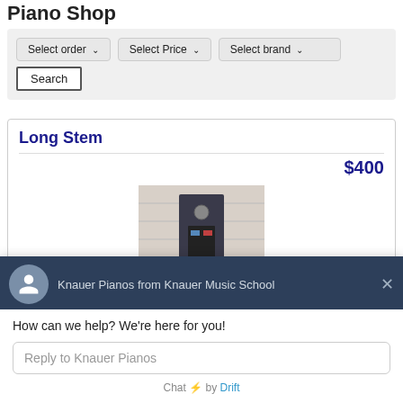Piano Shop
Select order   Select Price   Select brand
Search
Long Stem
$400
[Figure (photo): Photo of a piano or musical item against a brick wall background]
Knauer Pianos from Knauer Music School
How can we help? We're here for you!
Reply to Knauer Pianos
Chat ⚡ by Drift